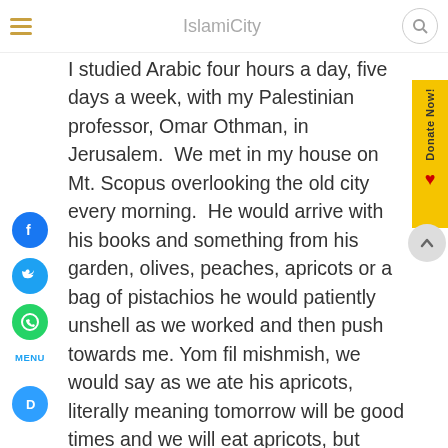IslamiCity
I studied Arabic four hours a day, five days a week, with my Palestinian professor, Omar Othman, in Jerusalem.  We met in my house on Mt. Scopus overlooking the old city every morning.  He would arrive with his books and something from his garden, olives, peaches, apricots or a bag of pistachios he would patiently unshell as we worked and then push towards me. Yom fil mishmish, we would say as we ate his apricots, literally meaning tomorrow will be good times and we will eat apricots, but given the long tragedy that has befallen the Palestinians, this phrase is converted into a wistful tomorrow will never come.